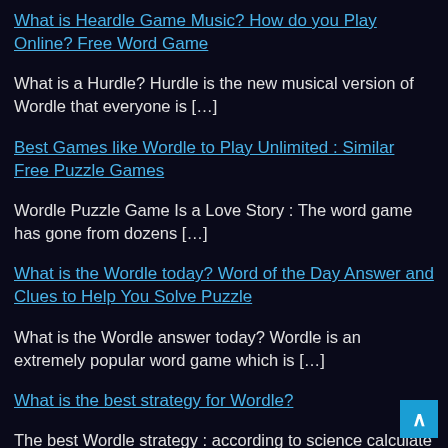What is Heardle Game Music? How do you Play Online? Free Word Game
What is a Hurdle? Hurdle is the new musical version of Wordle that everyone is […]
Best Games like Wordle to Play Unlimited : Similar Free Puzzle Games
Wordle Puzzle Game Is a Love Story : The word game has gone from dozens […]
What is the Wordle today? Word of the Day Answer and Clues to Help You Solve Puzzle
What is the Wordle answer today? Wordle is an extremely popular word game which is […]
What is the best strategy for Wordle?
The best Wordle strategy : according to science calculate